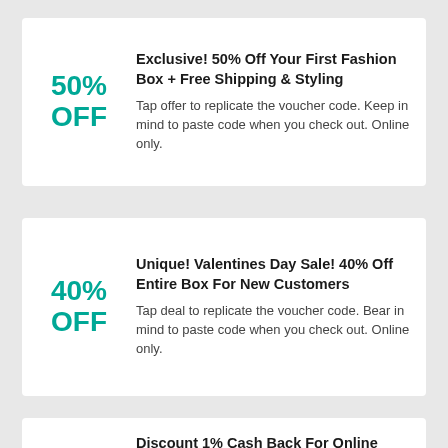50% OFF
Exclusive! 50% Off Your First Fashion Box + Free Shipping & Styling
Tap offer to replicate the voucher code. Keep in mind to paste code when you check out. Online only.
40% OFF
Unique! Valentines Day Sale! 40% Off Entire Box For New Customers
Tap deal to replicate the voucher code. Bear in mind to paste code when you check out. Online only.
Discount 1% Cash Back For Online